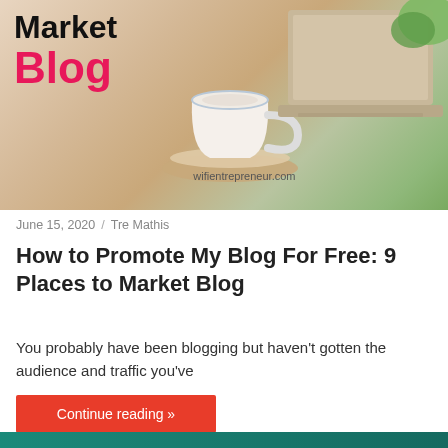[Figure (photo): Hero image showing a coffee cup on a wooden coaster and a laptop on a desk, with overlaid title text '9 Places to Market Blog' and watermark 'wifientrepreneur.com']
June 15, 2020 / Tre Mathis
How to Promote My Blog For Free: 9 Places to Market Blog
You probably have been blogging but haven't gotten the audience and traffic you've
Continue reading »